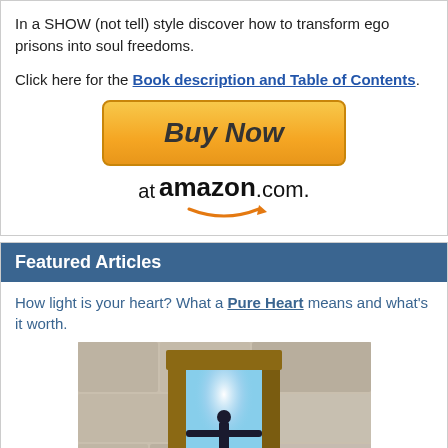In a SHOW (not tell) style discover how to transform ego prisons into soul freedoms.
Click here for the Book description and Table of Contents.
[Figure (illustration): Buy Now button graphic with Amazon.com logo and arrow]
Featured Articles
How light is your heart? What a Pure Heart means and what's it worth.
[Figure (photo): Photo of Christ the Redeemer statue silhouetted in an open doorframe set in a rough stone wall, with bright light behind]
To forgive is to release the hurt's power over you. See Forgiveness: